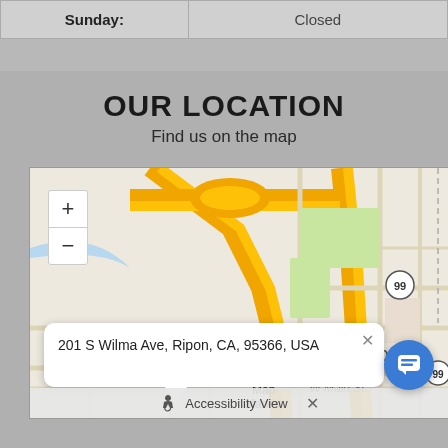| Day | Hours |
| --- | --- |
| Sunday: | Closed |
OUR LOCATION
Find us on the map
[Figure (map): Map showing location at 201 S Wilma Ave, Ripon, CA, 95366, USA with a map marker, zoom controls (+/-), popup address label, Ripon city label, W Main St label, and accessibility view bar at the bottom.]
201 S Wilma Ave, Ripon, CA, 95366, USA
Accessibility View